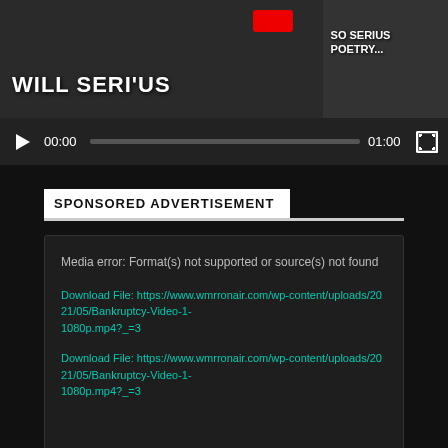[Figure (screenshot): Video player thumbnail showing two panels: left panel with text 'WILL SERI'US' and a red badge, right panel with text 'SO SERIUS POETRY...']
[Figure (screenshot): Video player controls bar with play button, time 00:00, progress bar, end time 01:00, and fullscreen button]
SPONSORED ADVERTISEMENT
Media error: Format(s) not supported or source(s) not found
Download File: https://www.wmrronair.com/wp-content/uploads/2021/05/Bankruptcy-Video-1-1080p.mp4?_=3
Download File: https://www.wmrronair.com/wp-content/uploads/2021/05/Bankruptcy-Video-1-1080p.mp4?_=3
[Figure (screenshot): Small teal/green play triangle icon at bottom center]